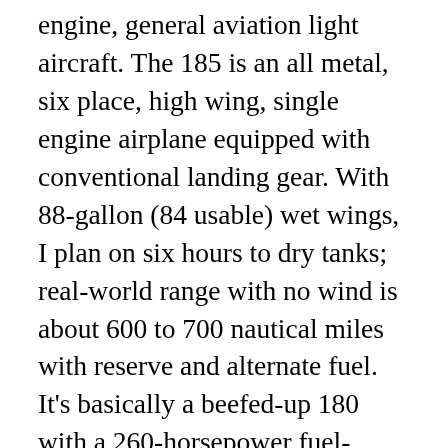engine, general aviation light aircraft. The 185 is an all metal, six place, high wing, single engine airplane equipped with conventional landing gear. With 88-gallon (84 usable) wet wings, I plan on six hours to dry tanks; real-world range with no wind is about 600 to 700 nautical miles with reserve and alternate fuel. It's basically a beefed-up 180 with a 260-horsepower fuel-injected Continental IO-470. Electric Motor. Share this with your friends. All rights reserved. We specialize in performing major aircraft sheetmetal repairs, aircraft rebuilding, restoration, annuals to classic aircraft and STC modifications to the Cessna 180/185 aircraft. Most owners have removed the third-row "kiddie seat" bench, suitable only